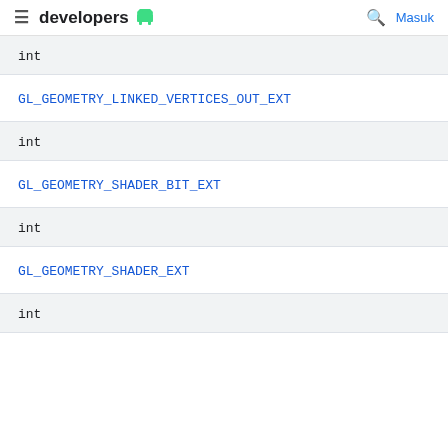developers
int
GL_GEOMETRY_LINKED_VERTICES_OUT_EXT
int
GL_GEOMETRY_SHADER_BIT_EXT
int
GL_GEOMETRY_SHADER_EXT
int